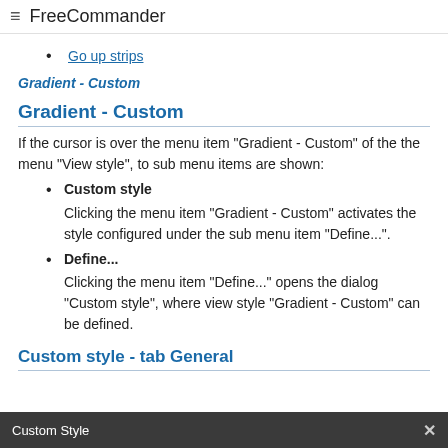≡  FreeCommander
Go up strips
Gradient - Custom
Gradient - Custom
If the cursor is over the menu item "Gradient - Custom" of the the menu "View style", to sub menu items are shown:
Custom style
Clicking the menu item "Gradient - Custom" activates the style configured under the sub menu item "Define...".
Define...
Clicking the menu item "Define..." opens the dialog "Custom style", where view style "Gradient - Custom" can be defined.
Custom style - tab General
[Figure (screenshot): Bottom bar of a dialog window titled 'Custom Style' with a close button]